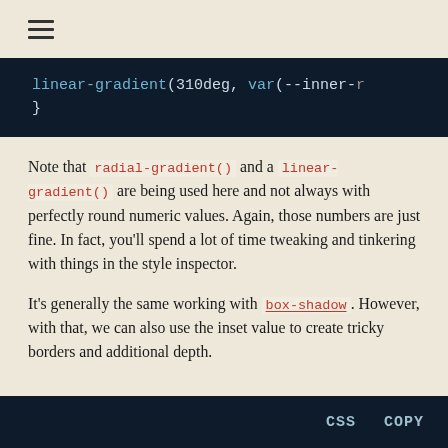☰
[Figure (screenshot): Dark code block showing: linear-gradient(310deg, var(--inner-r  }]
Note that radial-gradient() and a linear-gradient() are being used here and not always with perfectly round numeric values. Again, those numbers are just fine. In fact, you'll spend a lot of time tweaking and tinkering with things in the style inspector.
It's generally the same working with box-shadow. However, with that, we can also use the inset value to create tricky borders and additional depth.
[Figure (screenshot): Bottom dark code block footer with CSS and COPY labels]